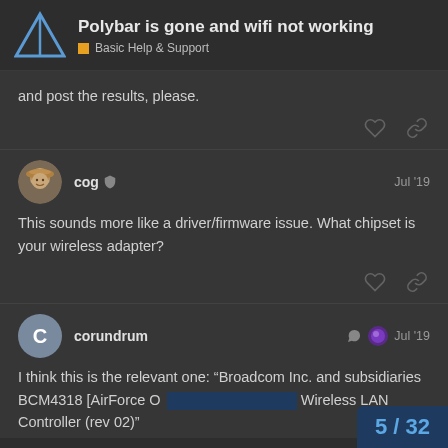Polybar is gone and wifi not working — Basic Help & Support
and post the results, please.
cog — Jul '19
This sounds more like a driver/firmware issue. What chipset is your wireless adapter?
corundrum — Jul '19
I think this is the relevant one: “Broadcom Inc. and subsidiaries BCM4318 [AirForce O Wireless LAN Controller (rev 02)”
5 / 32